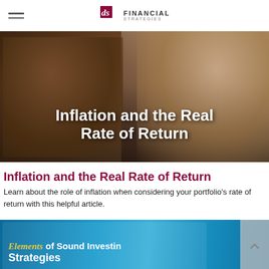DS Financial Strategies
[Figure (photo): Two people looking at a smartphone together at a table, with text overlay 'Inflation and the Real Rate of Return' in white bold text on a dark background]
Inflation and the Real Rate of Return
Learn about the role of inflation when considering your portfolio's rate of return with this helpful article.
[Figure (photo): Tablet screen showing article title 'Elements of Sound Investing Strategies' with teal/blue background]